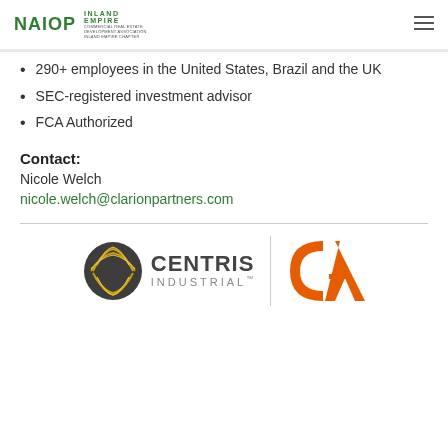NAIOP INLAND EMPIRE
290+ employees in the United States, Brazil and the UK
SEC-registered investment advisor
FCA Authorized
Contact:
Nicole Welch
nicole.welch@clarionpartners.com
[Figure (logo): Centris Industrial logo and CA logo side by side separated by a vertical divider line]